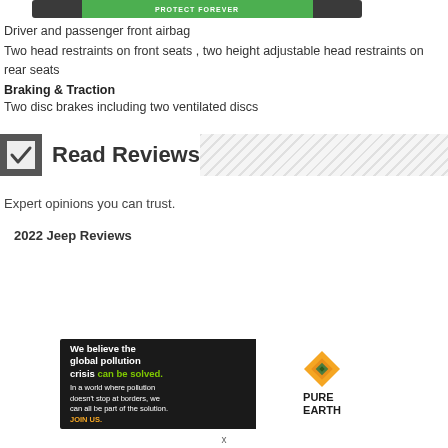[Figure (screenshot): Top banner image with green button, partially visible]
Driver and passenger front airbag
Two head restraints on front seats , two height adjustable head restraints on rear seats
Braking & Traction
Two disc brakes including two ventilated discs
Read Reviews
Expert opinions you can trust.
2022 Jeep Reviews
[Figure (infographic): Pure Earth advertisement banner: 'We believe the global pollution crisis can be solved. In a world where pollution doesn't stop at borders, we can all be part of the solution. JOIN US.' with Pure Earth logo]
x